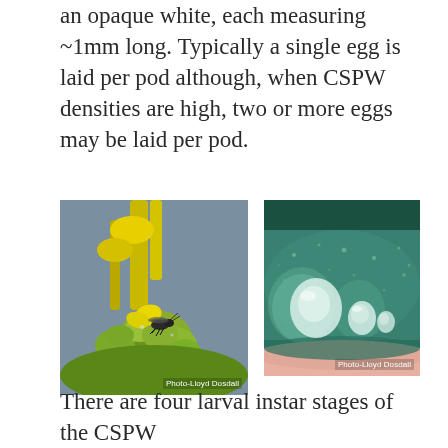an opaque white, each measuring ~1mm long. Typically a single egg is laid per pod although, when CSPW densities are high, two or more eggs may be laid per pod.
[Figure (photo): Close-up photograph of a canola stem weevil (CSPW) insect on yellow canola flower buds, with credit Photo-Lloyd Dosdall]
[Figure (photo): Close-up photograph of canola pod surface showing white CSPW eggs laid on the pod, with credit Photo-Lloyd Dosdall]
There are four larval instar stages of the CSPW